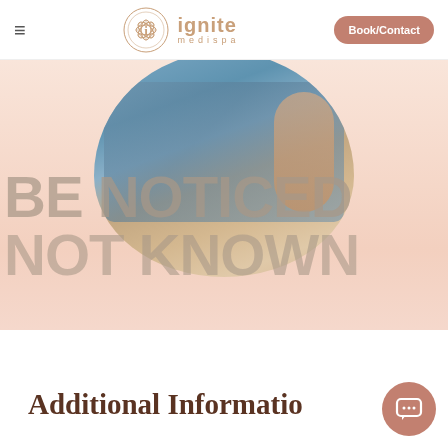ignite medispa — navigation bar with hamburger menu and Book/Contact button
[Figure (photo): Circular cropped photo of a person wearing a denim jacket with a tattooed hand, overlaid on a light peachy-pink background with bold semi-transparent text 'BE NOTICED NOT KNOWN']
Additional Information